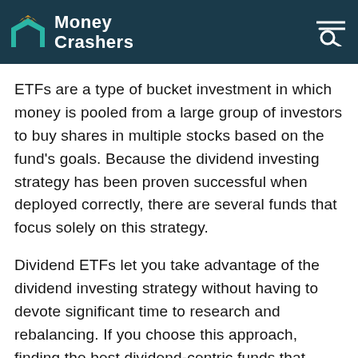Money Crashers
ETFs are a type of bucket investment in which money is pooled from a large group of investors to buy shares in multiple stocks based on the fund's goals. Because the dividend investing strategy has been proven successful when deployed correctly, there are several funds that focus solely on this strategy.
Dividend ETFs let you take advantage of the dividend investing strategy without having to devote significant time to research and rebalancing. If you choose this approach, finding the best dividend-centric funds that meet your investing goals is key to your success.